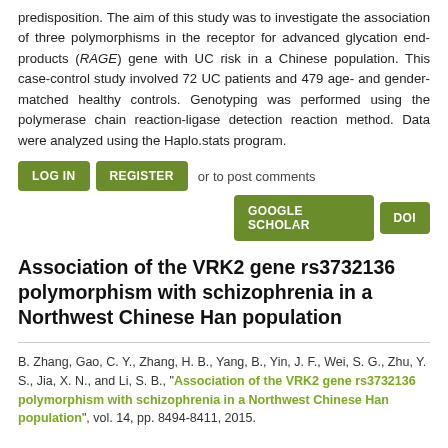predisposition. The aim of this study was to investigate the association of three polymorphisms in the receptor for advanced glycation end-products (RAGE) gene with UC risk in a Chinese population. This case-control study involved 72 UC patients and 479 age- and gender-matched healthy controls. Genotyping was performed using the polymerase chain reaction-ligase detection reaction method. Data were analyzed using the Haplo.stats program.
LOG IN | REGISTER or to post comments | GOOGLE SCHOLAR | DOI
Association of the VRK2 gene rs3732136 polymorphism with schizophrenia in a Northwest Chinese Han population
B. Zhang, Gao, C. Y., Zhang, H. B., Yang, B., Yin, J. F., Wei, S. G., Zhu, Y. S., Jia, X. N., and Li, S. B., "Association of the VRK2 gene rs3732136 polymorphism with schizophrenia in a Northwest Chinese Han population", vol. 14, pp. 8494-8411, 2015.